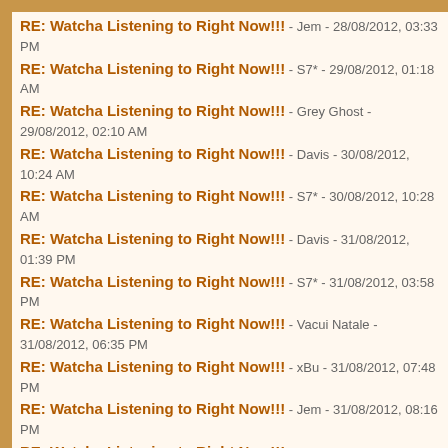RE: Watcha Listening to Right Now!!! - Jem - 28/08/2012, 03:33 PM
RE: Watcha Listening to Right Now!!! - S7* - 29/08/2012, 01:18 AM
RE: Watcha Listening to Right Now!!! - Grey Ghost - 29/08/2012, 02:10 AM
RE: Watcha Listening to Right Now!!! - Davis - 30/08/2012, 10:24 AM
RE: Watcha Listening to Right Now!!! - S7* - 30/08/2012, 10:28 AM
RE: Watcha Listening to Right Now!!! - Davis - 31/08/2012, 01:39 PM
RE: Watcha Listening to Right Now!!! - S7* - 31/08/2012, 03:58 PM
RE: Watcha Listening to Right Now!!! - Vacui Natale - 31/08/2012, 06:35 PM
RE: Watcha Listening to Right Now!!! - xBu - 31/08/2012, 07:48 PM
RE: Watcha Listening to Right Now!!! - Jem - 31/08/2012, 08:16 PM
RE: Watcha Listening to Right Now!!! - Davis - 31/08/2012, 09:00 PM
RE: Watcha Listening to Right Now!!! - andrewcc - 01/09/2012, 12:02 AM
RE: Watcha Listening to Right Now!!! - eznoir - 01/09/2012, 11:50 AM
RE: Watcha Listening to Right Now!!! - S7* - 01/09/2012, 02:25 PM
RE: Watcha Listening to Right Now!!! - Davis - 01/09/2012, 06:40 PM
RE: Watcha Listening to Right Now!!! - eKusoshisut0 - 01/09/2012, 09:52 PM
RE: Watcha Listening to Right Now!!! - xBu - 03/09/2012, 08:08 AM
RE: Watcha Listening to Right Now!!! - S7* - 03/09/2012, 08:55 AM
RE: Watcha Listening to Right Now!!! - eKusoshisut0 - 03/09/2012, 03:50 PM
RE: Watcha Listening to Right Now!!! - Vacui Natale - 03/09/2012, ...